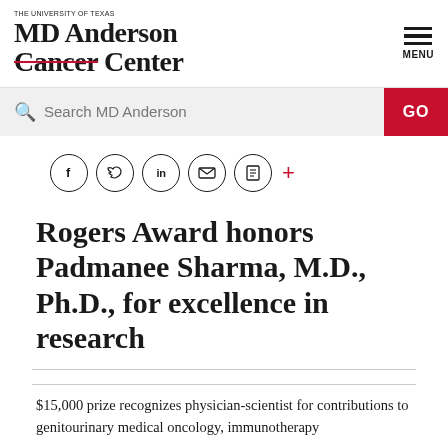THE UNIVERSITY OF TEXAS MD Anderson Cancer Center | MENU
Search MD Anderson | GO
[Figure (other): Social sharing icons row: Facebook, Twitter, LinkedIn, email/envelope, print, and a red plus sign]
Rogers Award honors Padmanee Sharma, M.D., Ph.D., for excellence in research
$15,000 prize recognizes physician-scientist for contributions to genitourinary medical oncology, immunotherapy